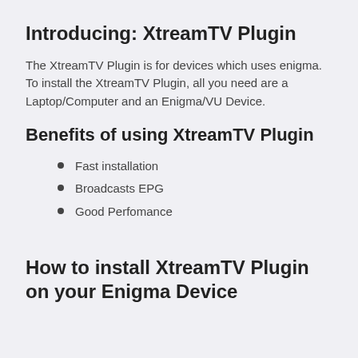Introducing: XtreamTV Plugin
The XtreamTV Plugin is for devices which uses enigma. To install the XtreamTV Plugin, all you need are a Laptop/Computer and an Enigma/VU Device.
Benefits of using XtreamTV Plugin
Fast installation
Broadcasts EPG
Good Perfomance
How to install XtreamTV Plugin on your Enigma Device